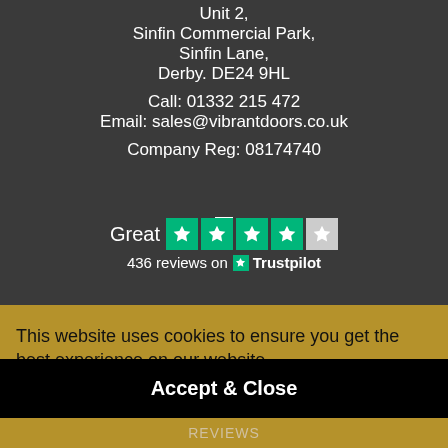Unit 2,
Sinfin Commercial Park,
Sinfin Lane,
Derby. DE24 9HL
Call: 01332 215 472
Email: sales@vibrantdoors.co.uk
Company Reg: 08174740
[Figure (infographic): Trustpilot rating widget showing 'Great' with 4 green stars and 1 half/gray star, and '436 reviews on Trustpilot']
This website uses cookies to ensure you get the best experience on our website.
More Information
Accept & Close
Reviews